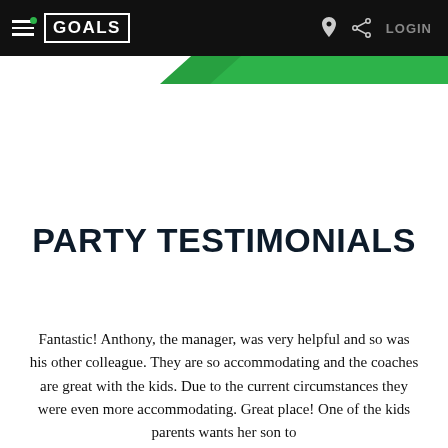GOALS — Navigation bar with hamburger menu, GOALS logo, location icon, share icon, LOGIN
[Figure (other): Green diagonal banner/accent below navigation bar]
PARTY TESTIMONIALS
Fantastic! Anthony, the manager, was very helpful and so was his other colleague. They are so accommodating and the coaches are great with the kids. Due to the current circumstances they were even more accommodating. Great place! One of the kids parents wants her son to